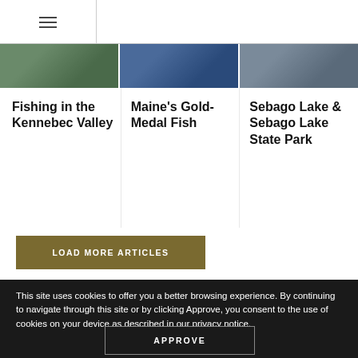Maine
[Figure (photo): Three image thumbnails side by side: fishing/nature scene, water scene, lake scene]
Fishing in the Kennebec Valley
Maine's Gold-Medal Fish
Sebago Lake & Sebago Lake State Park
LOAD MORE ARTICLES
This site uses cookies to offer you a better browsing experience. By continuing to navigate through this site or by clicking Approve, you consent to the use of cookies on your device as described in our privacy notice.
APPROVE